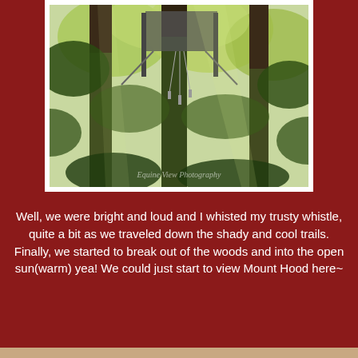[Figure (photo): A photograph of tall trees in a shady forest with green foliage, taken looking upward. A structure or platform is visible among the tree branches. Watermark reads 'Equine View Photography'.]
Well, we were bright and loud and I whisted my trusty whistle, quite a bit as we traveled down the shady and cool trails.
Finally, we started to break out of the woods and into the open sun(warm) yea! We could just start to view Mount Hood here~